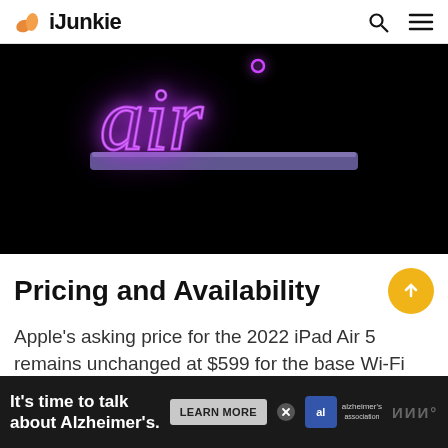iJunkie
[Figure (photo): iPad Air 5 promotional image on black background with glowing purple neon 'air' text and purple iPad Air device shown from the side]
Pricing and Availability
Apple's asking price for the 2022 iPad Air 5 remains unchanged at $599 for the base Wi-Fi o... si...s
[Figure (other): Advertisement banner: It's time to talk about Alzheimer's. LEARN MORE button. Alzheimer's association logo.]